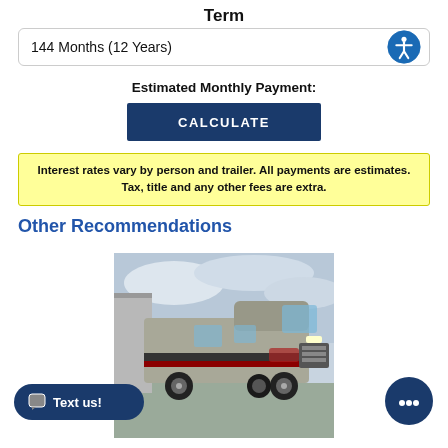Term
144 Months (12 Years)
Estimated Monthly Payment:
CALCULATE
Interest rates vary by person and trailer. All payments are estimates. Tax, title and any other fees are extra.
Other Recommendations
[Figure (photo): A large Class C motorhome (RV) photographed in a parking lot or dealership. The vehicle is silver/grey with dark accents, facing slightly to the left. Trees and other vehicles are visible in the background.]
Text us!